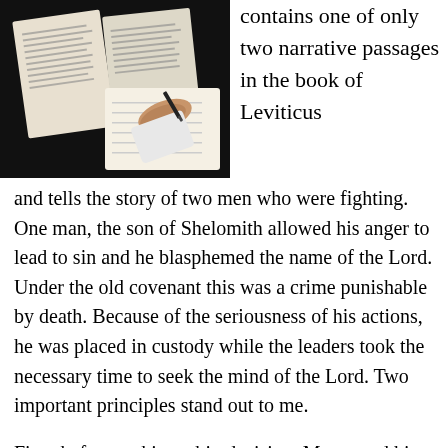[Figure (photo): Overhead view of open Bible and a hand writing in a notebook on a dark background]
contains one of only two narrative passages in the book of Leviticus
and tells the story of two men who were fighting. One man, the son of Shelomith allowed his anger to lead to sin and he blasphemed the name of the Lord. Under the old covenant this was a crime punishable by death. Because of the seriousness of his actions, he was placed in custody while the leaders took the necessary time to seek the mind of the Lord. Two important principles stand out to me.
First, before making a big decision, Moses and his leadership team took the necessary time to seek the Lord.